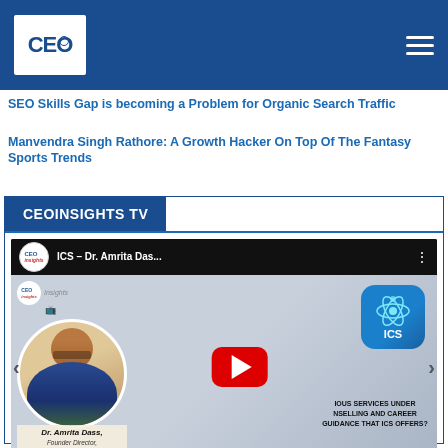CEO Insights
SEO Skills Gap is becoming a Problem for Organic Search Traffic
Manvendra Singh Rathore: A Growth Hacker On Top Of The Fantasy Sports Trends
CEOINSIGHTS TV
[Figure (screenshot): YouTube video thumbnail for ICS – Dr. Amrita Dass video. Shows Dr. Amrita Dass, Founder Director, Institute for Career Studies in a circular photo on the left, an ICS app icon on the upper right, a YouTube play button in the center, and text overlay reading 'IOUS SERVICES UNDER NSELLING AND CAREER GUIDANCE THAT ICS OFFERS?' on the right side.]